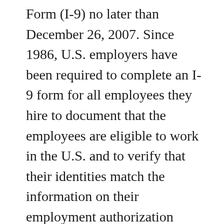Form (I-9) no later than December 26, 2007. Since 1986, U.S. employers have been required to complete an I-9 form for all employees they hire to document that the employees are eligible to work in the U.S. and to verify that their identities match the information on their employment authorization documents. The revised form is designed to comply with a long-planned reduction in the number of documents which employers may accept from newly hired employees during the employment eligibility verification process.
Five documents have been eliminated from